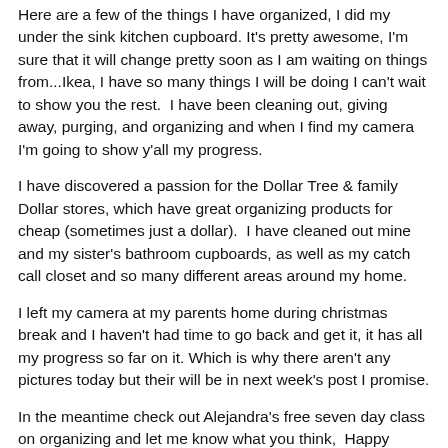Here are a few of the things I have organized, I did my under the sink kitchen cupboard. It's pretty awesome, I'm sure that it will change pretty soon as I am waiting on things from...Ikea, I have so many things I will be doing I can't wait to show you the rest.  I have been cleaning out, giving away, purging, and organizing and when I find my camera I'm going to show y'all my progress.
I have discovered a passion for the Dollar Tree & family Dollar stores, which have great organizing products for cheap (sometimes just a dollar).  I have cleaned out mine and my sister's bathroom cupboards, as well as my catch call closet and so many different areas around my home.
I left my camera at my parents home during christmas break and I haven't had time to go back and get it, it has all my progress so far on it. Which is why there aren't any pictures today but their will be in next week's post I promise.
In the meantime check out Alejandra's free seven day class on organizing and let me know what you think,  Happy Organizing